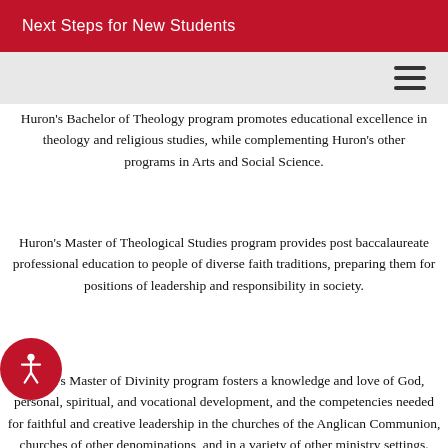Next Steps for New Students
Huron's Bachelor of Theology program promotes educational excellence in theology and religious studies, while complementing Huron's other programs in Arts and Social Science.
Huron's Master of Theological Studies program provides post baccalaureate professional education to people of diverse faith traditions, preparing them for positions of leadership and responsibility in society.
Huron's Master of Divinity program fosters a knowledge and love of God, personal, spiritual, and vocational development, and the competencies needed for faithful and creative leadership in the churches of the Anglican Communion, churches of other denominations, and in a variety of other ministry settings.